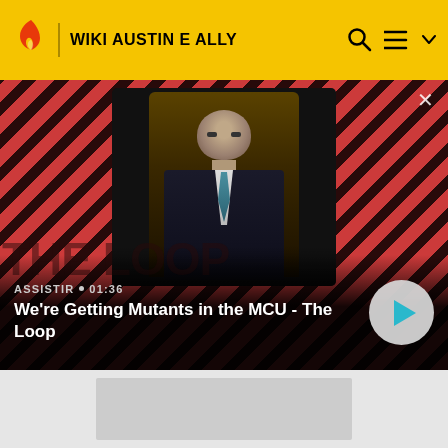WIKI AUSTIN E ALLY
[Figure (screenshot): Video thumbnail showing a bald man in a suit seated in a chair, against a red diagonal-stripe background with 'THE LOOP' watermark. Overlay shows 'ASSISTIR • 01:36' and title 'We're Getting Mutants in the MCU - The Loop' with a play button circle.]
ASSISTIR • 01:36
We're Getting Mutants in the MCU - The Loop